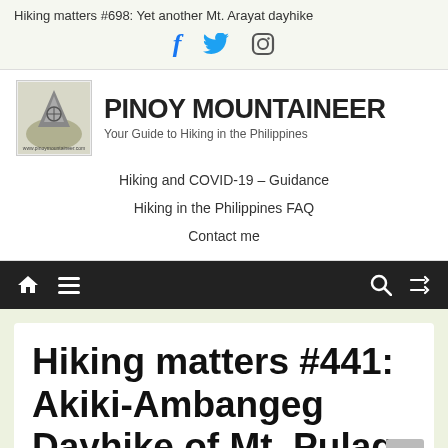Hiking matters #698: Yet another Mt. Arayat dayhike
[Figure (other): Social media icons: Facebook (f), Twitter (bird), Instagram (camera)]
[Figure (logo): Pinoy Mountaineer logo — sketch illustration of a mountaineer]
PINOY MOUNTAINEER
Your Guide to Hiking in the Philippines
Hiking and COVID-19 – Guidance
Hiking in the Philippines FAQ
Contact me
[Figure (other): Black navigation bar with home icon, hamburger menu, search icon, shuffle icon]
Hiking matters #441: Akiki-Ambangeg Dayhike of Mt. Pulag